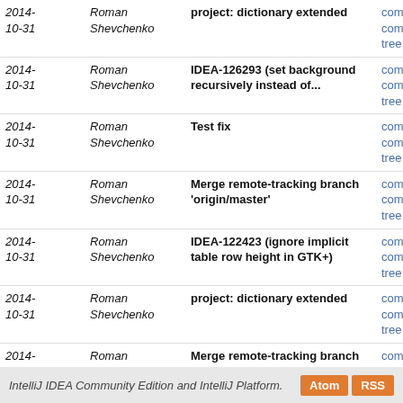| Date | Author | Message | Links |
| --- | --- | --- | --- |
| 2014-10-31 | Roman Shevchenko | project: dictionary extended | commit | commitdiff | tree |
| 2014-10-31 | Roman Shevchenko | IDEA-126293 (set background recursively instead of... | commit | commitdiff | tree |
| 2014-10-31 | Roman Shevchenko | Test fix | commit | commitdiff | tree |
| 2014-10-31 | Roman Shevchenko | Merge remote-tracking branch 'origin/master' | commit | commitdiff | tree |
| 2014-10-31 | Roman Shevchenko | IDEA-122423 (ignore implicit table row height in GTK+) | commit | commitdiff | tree |
| 2014-10-31 | Roman Shevchenko | project: dictionary extended | commit | commitdiff | tree |
| 2014-10-31 | Roman Shevchenko | Merge remote-tracking branch 'origin/master' | commit | commitdiff | tree |
| 2014-10-31 | Roman Shevchenko | ui: startup wizard in CE | commit | commitdiff | tree |
| 2014-10-31 | Roman Shevchenko | Cleanup (formatting; typos) | commit | commitdiff | tree |
| 2014-10-30 | Roman Shevchenko | IDEA-129108 (wizard step added) | commit | commitdiff | tree |
| 2014-10-30 | Roman Shevchenko | bytecode-viewer: consistent wording, better description | commit | commitdiff | tree |
next
IntelliJ IDEA Community Edition and IntelliJ Platform.